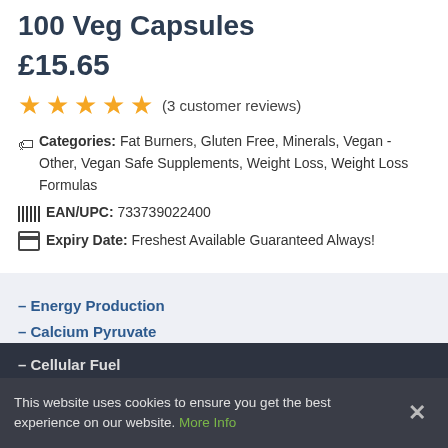100 Veg Capsules
£15.65
★★★★★ (3 customer reviews)
Categories: Fat Burners, Gluten Free, Minerals, Vegan - Other, Vegan Safe Supplements, Weight Loss, Weight Loss Formulas
EAN/UPC: 733739022400
Expiry Date: Freshest Available Guaranteed Always!
– Energy Production
– Calcium Pyruvate
– Cellular Fuel
– [partially obscured]
– [partially obscured] Sport
– Steroid Free
This website uses cookies to ensure you get the best experience on our website. More Info